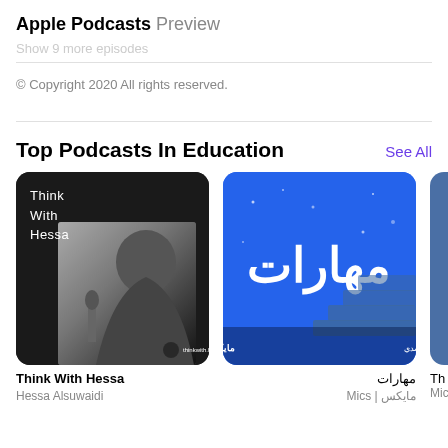Apple Podcasts Preview
Show 9 more episodes
© Copyright 2020 All rights reserved.
Top Podcasts In Education
See All
[Figure (photo): Think With Hessa podcast artwork - black and white photo of woman at microphone with 'Think With Hessa' text]
[Figure (photo): مهارات (Maharat) podcast artwork - blue background with Arabic text and staircase graphic]
[Figure (photo): Partial third podcast artwork - blue/gray]
Think With Hessa
Hessa Alsuwaidi
مهارات
مايكس | Mics
Th
Mic